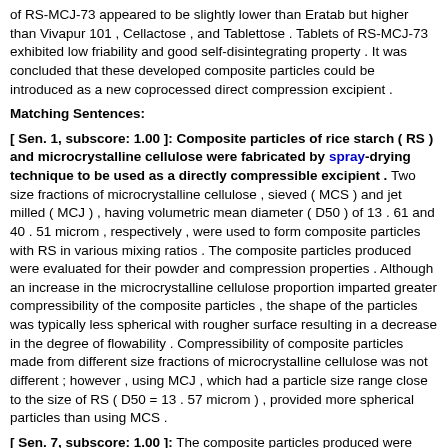of RS-MCJ-73 appeared to be slightly lower than Eratab but higher than Vivapur 101 , Cellactose , and Tablettose . Tablets of RS-MCJ-73 exhibited low friability and good self-disintegrating property . It was concluded that these developed composite particles could be introduced as a new coprocessed direct compression excipient .
Matching Sentences:
[ Sen. 1, subscore: 1.00 ]: Composite particles of rice starch ( RS ) and microcrystalline cellulose were fabricated by spray-drying technique to be used as a directly compressible excipient . Two size fractions of microcrystalline cellulose , sieved ( MCS ) and jet milled ( MCJ ) , having volumetric mean diameter ( D50 ) of 13 . 61 and 40 . 51 microm , respectively , were used to form composite particles with RS in various mixing ratios . The composite particles produced were evaluated for their powder and compression properties . Although an increase in the microcrystalline cellulose proportion imparted greater compressibility of the composite particles , the shape of the particles was typically less spherical with rougher surface resulting in a decrease in the degree of flowability . Compressibility of composite particles made from different size fractions of microcrystalline cellulose was not different ; however , using MCJ , which had a particle size range close to the size of RS ( D50 = 13 . 57 microm ) , provided more spherical particles than using MCS .
[ Sen. 7, subscore: 1.00 ]: The composite particles produced were evaluated for their powder and compression properties . Although an increase in the microcrystalline cellulose proportion imparted greater compressibility of the composite particles , the shape of the particles was typically less spherical with rougher surface resulting in a decrease in the degree of flowability . Compressibility of composite particles made from different size fractions of microcrystalline cellulose was not different ; however , using MCJ , which had a particle size range close to the size of RS ( D50 = 13 . 57 microm ) , provided more spherical particles than using MCS .